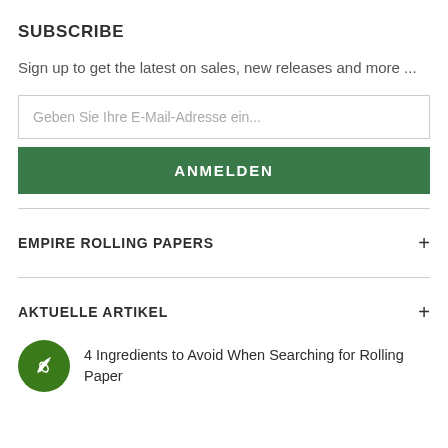SUBSCRIBE
Sign up to get the latest on sales, new releases and more ...
Geben Sie Ihre E-Mail-Adresse ein...
ANMELDEN
EMPIRE ROLLING PAPERS
AKTUELLE ARTIKEL
4 Ingredients to Avoid When Searching for Rolling Paper